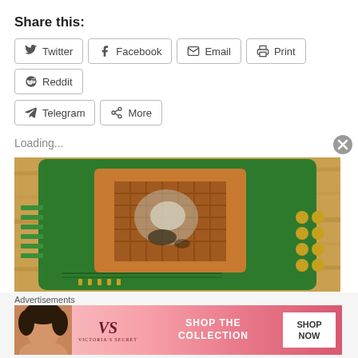Share this:
Twitter  Facebook  Email  Print  Reddit  Telegram  More
Loading...
[Figure (photo): Close-up photo of a damaged green circuit board with a burned/melted chip in the center, yellow solder pads visible, placed on a wooden surface.]
Advertisements
[Figure (other): Victoria's Secret advertisement banner: SHOP THE COLLECTION - SHOP NOW]